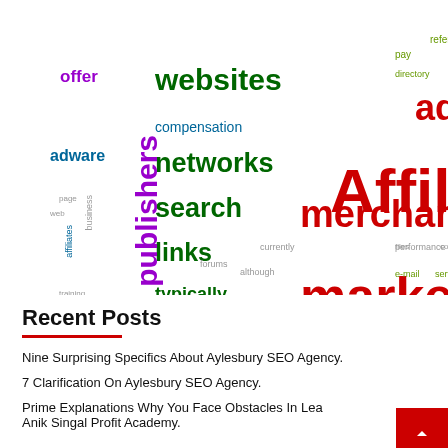[Figure (infographic): Word cloud about affiliate marketing with words like Affiliate, marketing, merchant, advertiser, websites, publishers, search, links, commission, industry, methods, users, programs, click, visitors, networks, pay-per-click, management, content, marketers, and many smaller related terms in various colors (red, green, purple, teal, olive, orange).]
Recent Posts
Nine Surprising Specifics About Aylesbury SEO Agency.
7 Clarification On Aylesbury SEO Agency.
Prime Explanations Why You Face Obstacles In Learning Anik Singal Profit Academy.